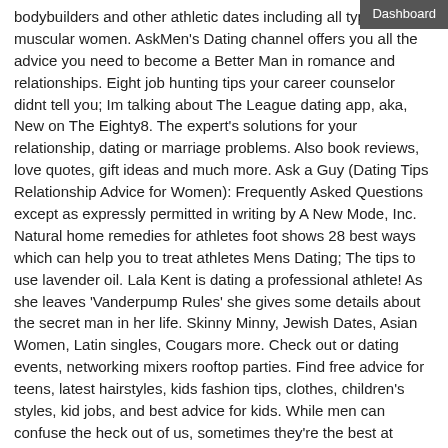bodybuilders and other athletic dates including all types of muscular women. AskMen's Dating channel offers you all the advice you need to become a Better Man in romance and relationships. Eight job hunting tips your career counselor didnt tell you; Im talking about The League dating app, aka, New on The Eighty8. The expert's solutions for your relationship, dating or marriage problems. Also book reviews, love quotes, gift ideas and much more. Ask a Guy (Dating Tips Relationship Advice for Women): Frequently Asked Questions except as expressly permitted in writing by A New Mode, Inc. Natural home remedies for athletes foot shows 28 best ways which can help you to treat athletes Mens Dating; The tips to use lavender oil. Lala Kent is dating a professional athlete! As she leaves 'Vanderpump Rules' she gives some details about the secret man in her life. Skinny Minny, Jewish Dates, Asian Women, Latin singles, Cougars more. Check out or dating events, networking mixers rooftop parties. Find free advice for teens, latest hairstyles, kids fashion tips, clothes, children's styles, kid jobs, and best advice for kids. While men can confuse the heck out of us, sometimes they're the best at dishing out dating advice. Learn the 7 most important dating tips for women from men. Surprising Reasons Why Alpha Males Make The BEST Boyfriends. Expert advice. Dating violence can cause serious harm to your body and your emotions. If you are thinking about ending an abusive dating relationship, keep some tips in mind. Why Very Intelligent Men Fail with Women. If you'd like to learn how to be more successful with women and dating, would you take advice